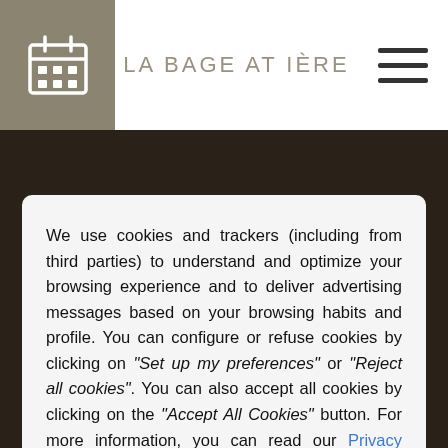LA BAGEATIÈRE
We use cookies and trackers (including from third parties) to understand and optimize your browsing experience and to deliver advertising messages based on your browsing habits and profile. You can configure or refuse cookies by clicking on "Set up my preferences" or "Reject all cookies". You can also accept all cookies by clicking on the "Accept All Cookies" button. For more information, you can read our Privacy Policy.
Reject all cookies | Set up my preferences | Accept all cookies
Breakfast